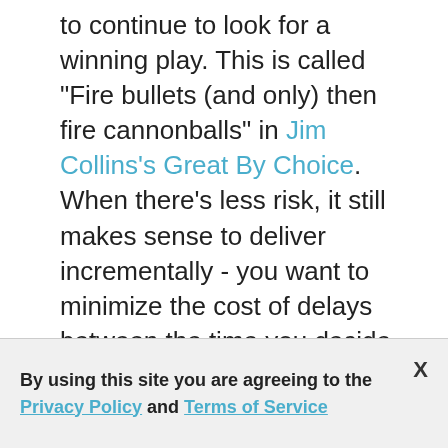to continue to look for a winning play. This is called "Fire bullets (and only) then fire cannonballs" in Jim Collins's Great By Choice. When there's less risk, it still makes sense to deliver incrementally - you want to minimize the cost of delays between the time you decide to execute a marketing play/campaign and the time you're able to go to the market. If you can deliver some minimal play/campaign that can already start to have an impact on your customer journey/brand, you want to do that.

In Scrum theory we call this Empiricism. So
By using this site you are agreeing to the Privacy Policy and Terms of Service